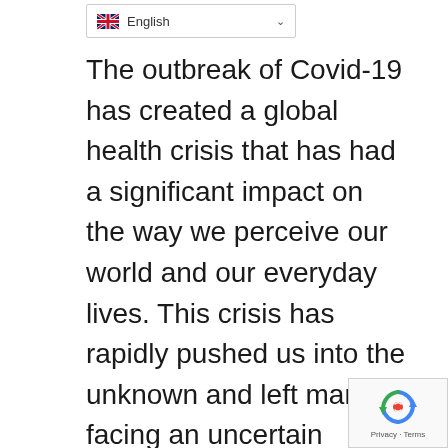[Figure (screenshot): Language selector dropdown bar showing UK flag and 'English' label with dropdown arrow]
The outbreak of Covid-19 has created a global health crisis that has had a significant impact on the way we perceive our world and our everyday lives. This crisis has rapidly pushed us into the unknown and left many facing an uncertain future. However, it has been proven throughout history that New Zealand is no stranger to adversity. Time after time, New Zealanders have shown the ability to come together, with the desire to help one another demonstrating the resilience of the nation and this
[Figure (other): Grey scroll-to-top button with white upward arrow]
[Figure (other): Google reCAPTCHA badge with recycling arrows logo and Privacy - Terms text]